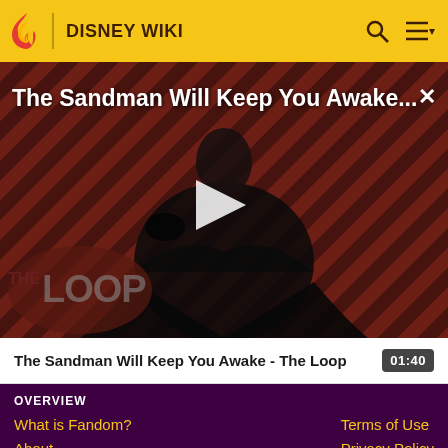DISNEY WIKI
[Figure (screenshot): Video player showing 'The Sandman Will Keep You Awake...' with a dark figure wearing a black cloak holding a crow, overlaid on a red and black diagonal striped background. A play button is centered. The Loop logo is visible in the bottom left.]
The Sandman Will Keep You Awake - The Loop
01:40
OVERVIEW
What is Fandom?
Terms of Use
About
Privacy Policy